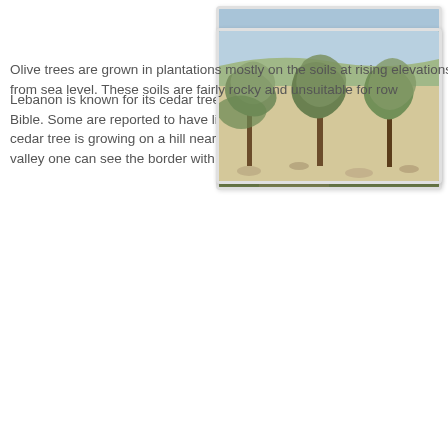[Figure (photo): Landscape photo of a cedar tree growing on a rocky hillside with a wide valley and mountains visible in the background under a hazy blue sky. The Syria border is visible across the valley.]
Lebanon is known for its cedar trees that have been referred to in the Bible. Some are reported to have lived more than 2000 years. This small cedar tree is growing on a hill near the motel where I stayed. Across the valley one can see the border with Syria.
[Figure (photo): Photo of an olive tree plantation with multiple gnarled olive trees on rocky, light-colored soil at an elevated terrain. Mountains visible in the background.]
Olive trees are grown in plantations mostly on the soils at rising elevations from sea level. These soils are fairly rocky and unsuitable for row